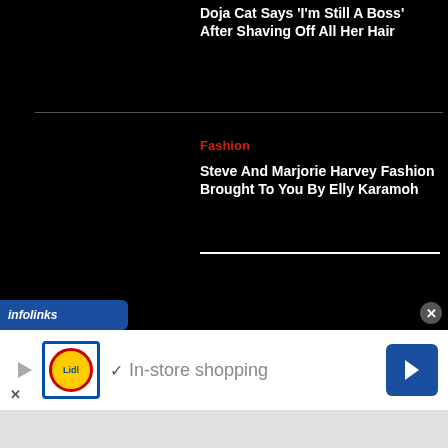Doja Cat Says 'I'm Still A Boss' After Shaving Off All Her Hair
Fashion
Steve And Marjorie Harvey Fashion Brought To You By Elly Karamoh
[Figure (infographic): Infolinks advertisement bar with blue background and italic white text]
[Figure (infographic): Lidl advertisement banner with logo, checkmark, 'In-store shopping' text, and blue arrow button]